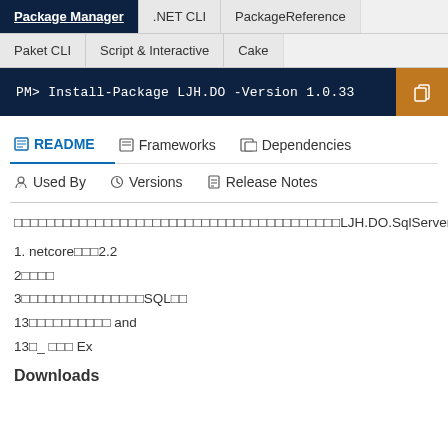Package Manager | .NET CLI | PackageReference | Paket CLI | Script & Interactive | Cake
PM> Install-Package LJH.DO -Version 1.0.33
README | Frameworks | Dependencies | Used By | Versions | Release Notes
□□□□□□□□□□□□□□□□□□□□□□□□□□□□□□□□□□□□□□□□LJH.DO.SqlServer
1. netcore□□□2.2
2□□□□
3□□□□□□□□□□□□□□□SQL□□
13□□□□□□□□□□ and
13□_ □□□ Ex
Downloads